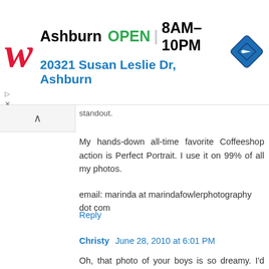[Figure (infographic): Walgreens ad banner: Walgreens W logo (red italic), Ashburn OPEN 8AM-10PM, 20321 Susan Leslie Dr, Ashburn, blue navigation diamond icon]
standout.
My hands-down all-time favorite Coffeeshop action is Perfect Portrait. I use it on 99% of all my photos.
email: marinda at marindafowlerphotography dot com
Reply
Christy June 28, 2010 at 6:01 PM
Oh, that photo of your boys is so dreamy. I'd love to have something like that of my kids on the wall. Here's hoping I can do it for free! lol
The two actions I use most are Perfect Portrait and Powder Room 2. I don't use Perfect Portrait as much anymore because on some photos it's just too much of an initial